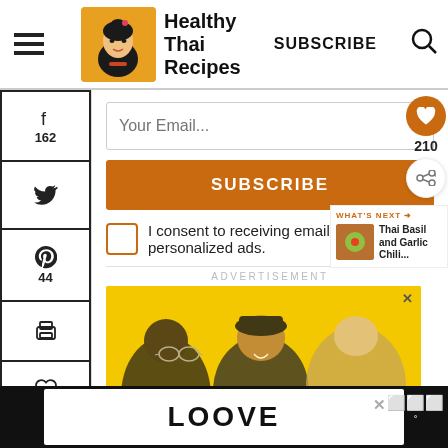[Figure (logo): Healthy Thai Recipes website header with logo (illustrated Thai woman on orange background), hamburger menu, SUBSCRIBE link, and search icon]
[Figure (infographic): Left social media sidebar with Facebook (162), Twitter, Pinterest (44), Print buttons, like (2), 206 SHARES]
Your Email...
SUBSCRIBE
I consent to receiving emails and personalized ads.
ADVERTISEMENT
[Figure (photo): Advertisement banner with yellow background showing people at an event, ad council badge, close X button]
WHAT'S NEXT → Thai Basil and Garlic Chili...
[Figure (other): Bottom advertisement bar on dark background showing stylized LOOVE text logo with close X button and weather icon]